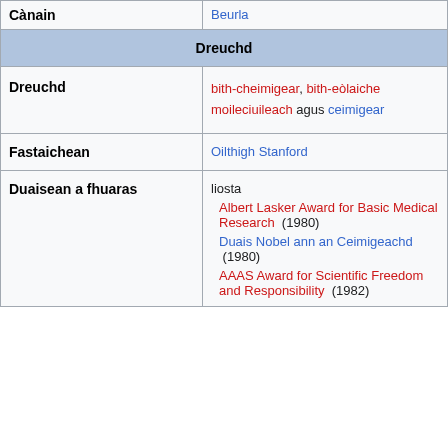| Cànain | Beurla |
| Dreuchd |  |
| Dreuchd | bith-cheimigear, bith-eòlaiche moileciuileach agus ceimigear |
| Fastaichean | Oilthigh Stanford |
| Duaisean a fhuaras | liosta
Albert Lasker Award for Basic Medical Research (1980)
Duais Nobel ann an Ceimigeachd (1980)
AAAS Award for Scientific Freedom and Responsibility (1982) |